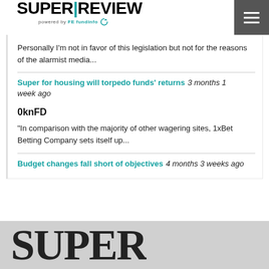SUPER|REVIEW powered by FE fundinfo
Personally I'm not in favor of this legislation but not for the reasons of the alarmist media...
Super for housing will torpedo funds' returns 3 months 1 week ago
0knFD
"In comparison with the majority of other wagering sites, 1xBet Betting Company sets itself up...
Budget changes fall short of objectives 4 months 3 weeks ago
SUPER